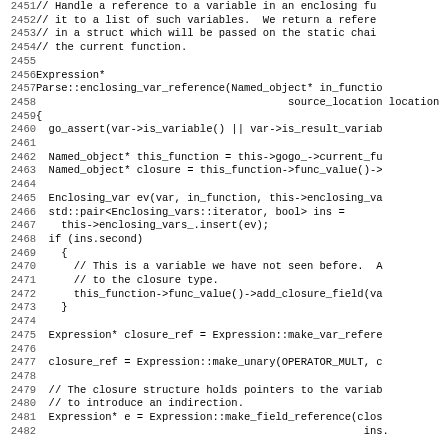Source code listing lines 2451-2482, C++ code for Parse::enclosing_var_reference function